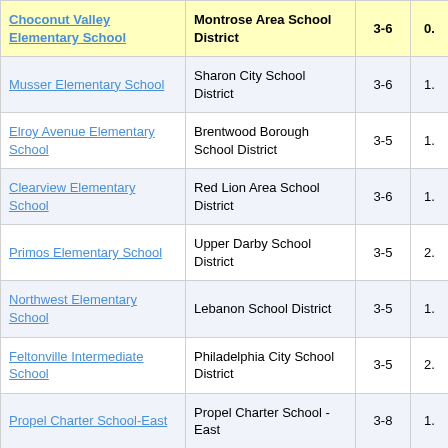| School | District | Grades | Value |
| --- | --- | --- | --- |
| Choconut Valley Elementary School | Montrose Area School District | 3-6 | 0. |
| Musser Elementary School | Sharon City School District | 3-6 | 1. |
| Elroy Avenue Elementary School | Brentwood Borough School District | 3-5 | 1. |
| Clearview Elementary School | Red Lion Area School District | 3-6 | 1. |
| Primos Elementary School | Upper Darby School District | 3-5 | 2. |
| Northwest Elementary School | Lebanon School District | 3-5 | 1. |
| Feltonville Intermediate School | Philadelphia City School District | 3-5 | 2. |
| Propel Charter School-East | Propel Charter School - East | 3-8 | 1. |